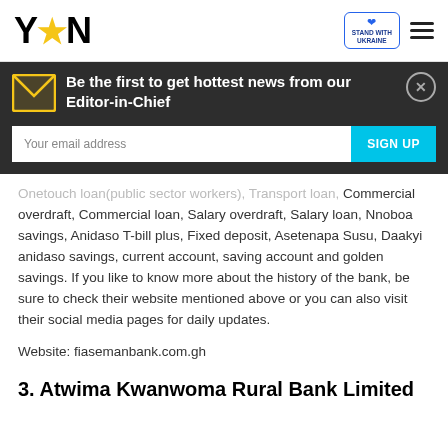YEN (logo)
Be the first to get hottest news from our Editor-in-Chief
Onetouch loan(public sector workers), Transport loan, Commercial overdraft, Commercial loan, Salary overdraft, Salary loan, Nnoboa savings, Anidaso T-bill plus, Fixed deposit, Asetenapa Susu, Daakyi anidaso savings, current account, saving account and golden savings. If you like to know more about the history of the bank, be sure to check their website mentioned above or you can also visit their social media pages for daily updates.
Website: fiasemanbank.com.gh
3. Atwima Kwanwoma Rural Bank Limited